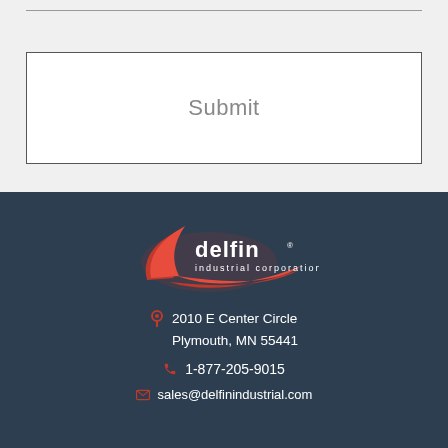Submit
[Figure (logo): Delfin Industrial Corporation logo — red crescent swoosh with white text 'delfin industrial corporation' on dark background]
2010 E Center Circle
Plymouth, MN 55441
1-877-205-9015
sales@delfinindustrial.com